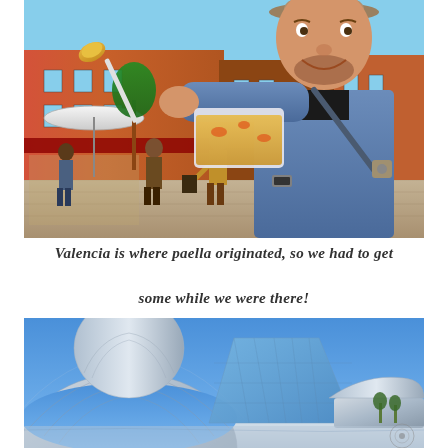[Figure (photo): A man in a hat and denim jacket holding up a spoon with paella and a clear take-away container of paella, standing in a busy outdoor street market or plaza with other people and colorful storefronts in the background in Valencia, Spain.]
Valencia is where paella originated, so we had to get some while we were there!
[Figure (photo): Modern futuristic architecture of the City of Arts and Sciences (Ciudad de las Artes y las Ciencias) in Valencia, Spain, featuring large curved metallic structures and glass dome under a clear blue sky.]